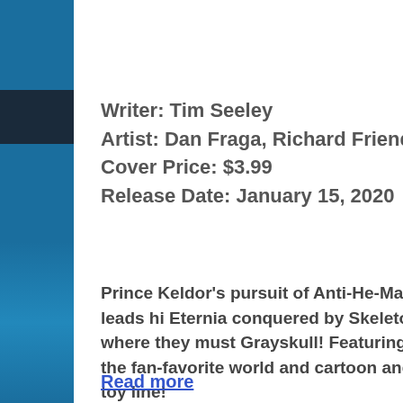Writer: Tim Seeley
Artist: Dan Fraga, Richard Friend
Cover Price: $3.99
Release Date: January 15, 2020
Prince Keldor's pursuit of Anti-He-Man leads hi... Eternia conquered by Skeletor, where they must... Grayskull! Featuring the fan-favorite world and... cartoon and toy line!
Read more